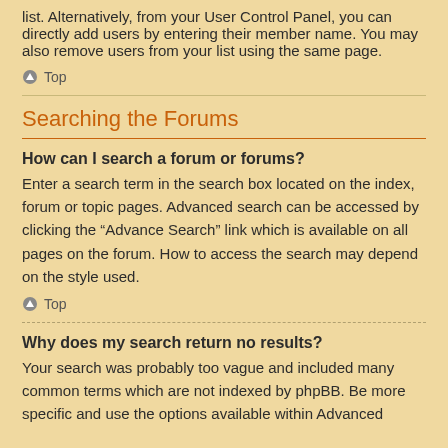list. Alternatively, from your User Control Panel, you can directly add users by entering their member name. You may also remove users from your list using the same page.
Top
Searching the Forums
How can I search a forum or forums?
Enter a search term in the search box located on the index, forum or topic pages. Advanced search can be accessed by clicking the “Advance Search” link which is available on all pages on the forum. How to access the search may depend on the style used.
Top
Why does my search return no results?
Your search was probably too vague and included many common terms which are not indexed by phpBB. Be more specific and use the options available within Advanced